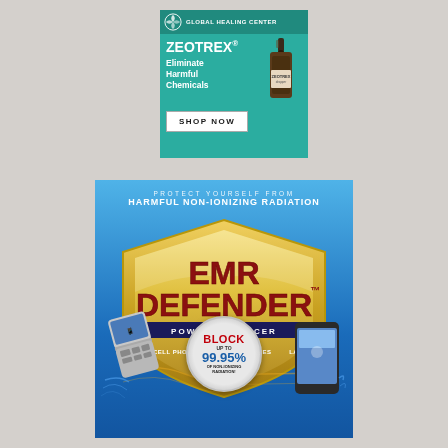[Figure (infographic): Global Healing Center advertisement for ZEOTREX supplement with teal background, product bottle, and SHOP NOW button]
[Figure (infographic): EMR Defender Power Enhancer advertisement on blue background with gold shield logo, text about blocking up to 99.95% of non-ionizing radiation, showing cell phones and mobile phones]